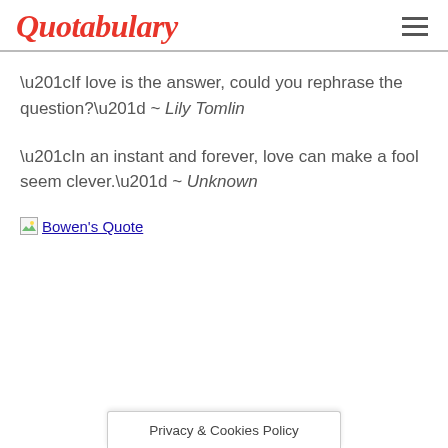Quotabulary
“If love is the answer, could you rephrase the question?” ~ Lily Tomlin
“In an instant and forever, love can make a fool seem clever.” ~ Unknown
[Figure (other): Broken image link labeled Bowen's Quote]
Privacy & Cookies Policy